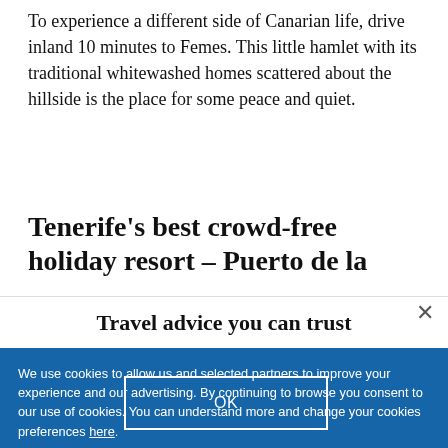To experience a different side of Canarian life, drive inland 10 minutes to Femes. This little hamlet with its traditional whitewashed homes scattered about the hillside is the place for some peace and quiet.
Tenerife’s best crowd-free holiday resort – Puerto de la
×
Travel advice you can trust
We use cookies to allow us and selected partners to improve your experience and our advertising. By continuing to browse you consent to our use of cookies. You can understand more and change your cookies preferences here.
OK